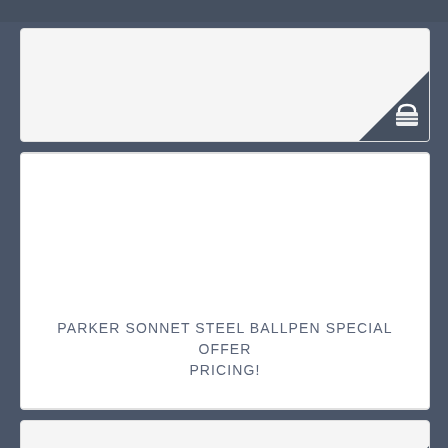[Figure (screenshot): E-commerce product listing page showing a shopping card with basket icon in the top card corner, a product placeholder card with title text, and a third card below. Dark blue-gray navigation bar at top.]
PARKER SONNET STEEL BALLPEN SPECIAL OFFER PRICING!